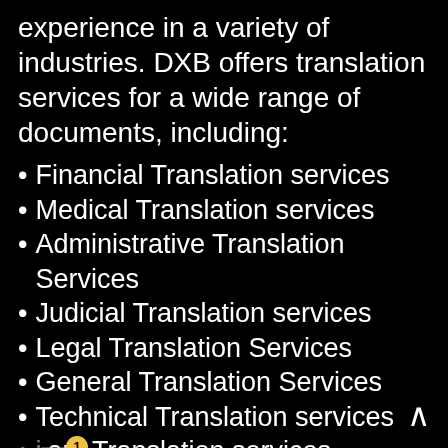experience in a variety of industries. DXB offers translation services for a wide range of documents, including:
Financial Translation services
Medical Translation services
Administrative Translation Services
Judicial Translation services
Legal Translation Services
General Translation Services
Technical Translation services
itary Translation services
tified Translation Services
Marketing Translation Services